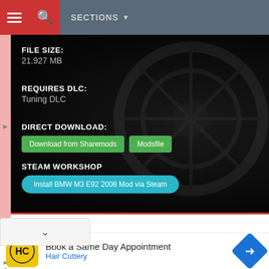SECTIONS
FILE SIZE:
21.927 MB
REQUIRES DLC:
Tuning DLC
DIRECT DOWNLOAD:
Download from Sharemods   Modsfile
STEAM WORKSHOP
Install BMW M3 E92 2008 Mod via Steam
[Figure (screenshot): Dark themed mod download info panel with green download buttons and a blue Steam install button]
Book a Same Day Appointment
Hair Cuttery